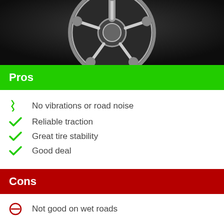[Figure (photo): Close-up photo of a silver/chrome car wheel rim against a dark background]
Pros
No vibrations or road noise
Reliable traction
Great tire stability
Good deal
Cons
Not good on wet roads